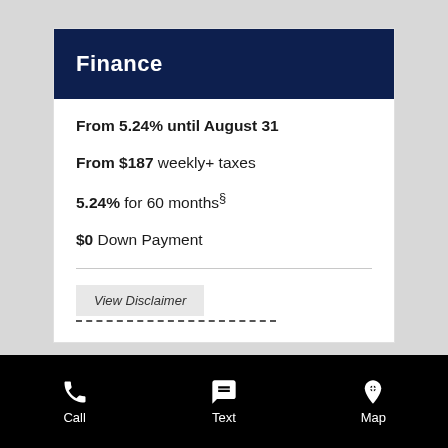Finance
From 5.24% until August 31
From $187 weekly+ taxes
5.24% for 60 months§
$0 Down Payment
View Disclaimer
Call   Text   Map